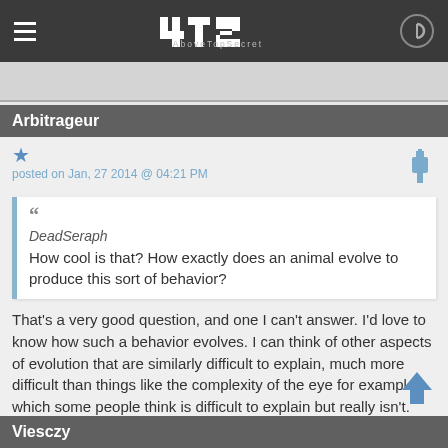4TS AboveTopSecret
Arbitrageur
posted on Jan, 27 2014 @ 04:21 PM
DeadSeraph
How cool is that? How exactly does an animal evolve to produce this sort of behavior?
That's a very good question, and one I can't answer. I'd love to know how such a behavior evolves. I can think of other aspects of evolution that are similarly difficult to explain, much more difficult than things like the complexity of the eye for example, which some people think is difficult to explain but really isn't.
Viesczy